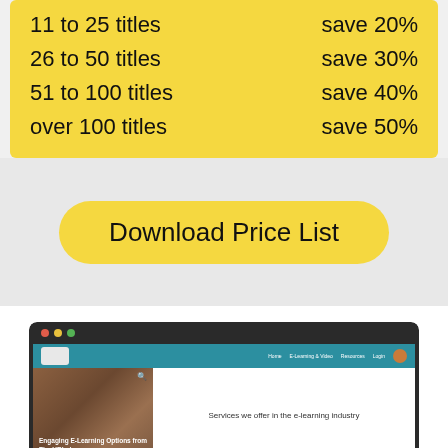11 to 25 titles   save 20%
26 to 50 titles   save 30%
51 to 100 titles   save 40%
over 100 titles   save 50%
Download Price List
[Figure (screenshot): Screenshot of a website for e-learning services showing navigation bar, an image of a person with text 'Engaging E-Learning Options from The URL dr.' and text 'Services we offer in the e-learning industry']